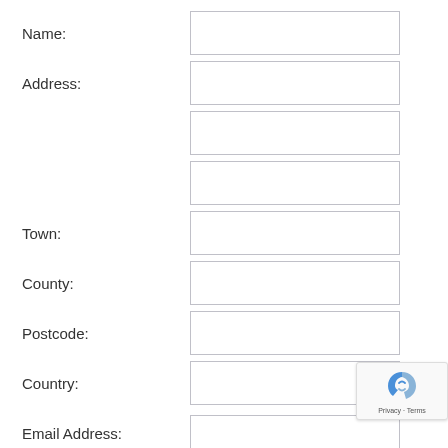Name:
Address:
Town:
County:
Postcode:
Country:
Email Address:
[Figure (other): reCAPTCHA privacy badge with blue/grey logo and Privacy - Terms text]